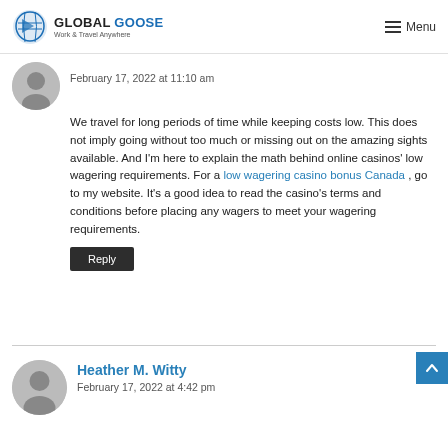GLOBAL GOOSE — Work & Travel Anywhere | Menu
February 17, 2022 at 11:10 am
We travel for long periods of time while keeping costs low. This does not imply going without too much or missing out on the amazing sights available. And I'm here to explain the math behind online casinos' low wagering requirements. For a low wagering casino bonus Canada , go to my website. It's a good idea to read the casino's terms and conditions before placing any wagers to meet your wagering requirements.
Reply
Heather M. Witty
February 17, 2022 at 4:42 pm